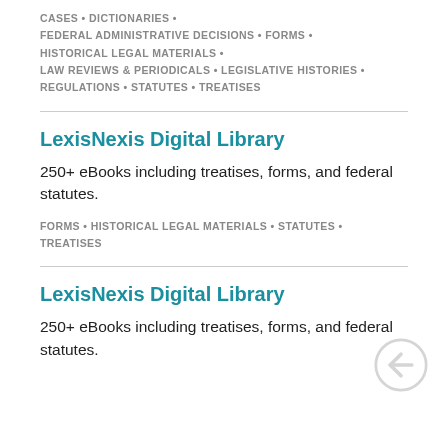CASES • DICTIONARIES • FEDERAL ADMINISTRATIVE DECISIONS • FORMS • HISTORICAL LEGAL MATERIALS • LAW REVIEWS & PERIODICALS • LEGISLATIVE HISTORIES • REGULATIONS • STATUTES • TREATISES
LexisNexis Digital Library
250+ eBooks including treatises, forms, and federal statutes.
FORMS • HISTORICAL LEGAL MATERIALS • STATUTES • TREATISES
LexisNexis Digital Library
250+ eBooks including treatises, forms, and federal statutes.